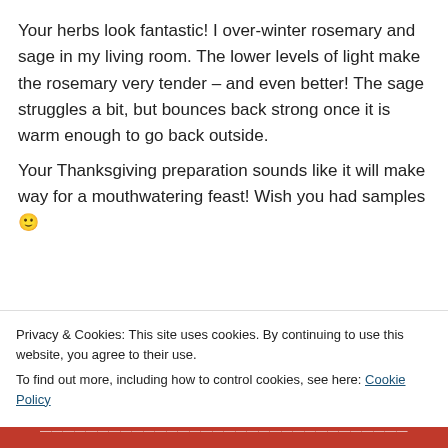Your herbs look fantastic! I over-winter rosemary and sage in my living room. The lower levels of light make the rosemary very tender – and even better! The sage struggles a bit, but bounces back strong once it is warm enough to go back outside.
Your Thanksgiving preparation sounds like it will make way for a mouthwatering feast! Wish you had samples 🙂
↵ Reply
Privacy & Cookies: This site uses cookies. By continuing to use this website, you agree to their use.
To find out more, including how to control cookies, see here: Cookie Policy
Close and accept